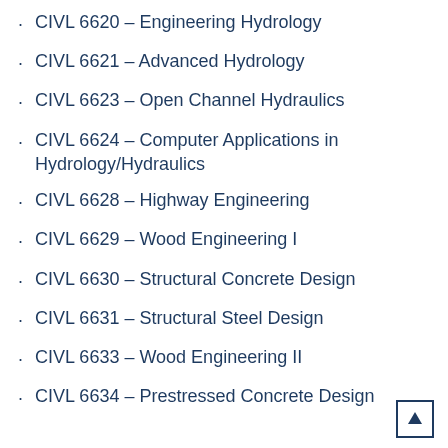CIVL 6620 – Engineering Hydrology
CIVL 6621 – Advanced Hydrology
CIVL 6623 – Open Channel Hydraulics
CIVL 6624 – Computer Applications in Hydrology/Hydraulics
CIVL 6628 – Highway Engineering
CIVL 6629 – Wood Engineering I
CIVL 6630 – Structural Concrete Design
CIVL 6631 – Structural Steel Design
CIVL 6633 – Wood Engineering II
CIVL 6634 – Prestressed Concrete Design